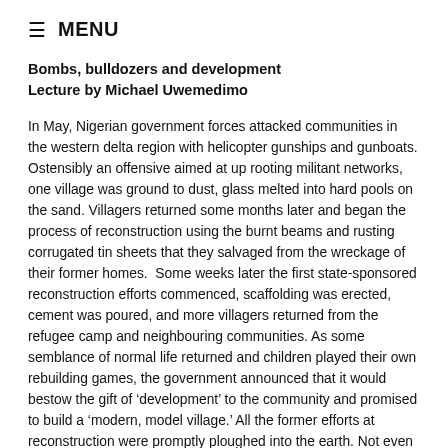≡ MENU
Bombs, bulldozers and development
Lecture by Michael Uwemedimo
In May, Nigerian government forces attacked communities in the western delta region with helicopter gunships and gunboats. Ostensibly an offensive aimed at up rooting militant networks, one village was ground to dust, glass melted into hard pools on the sand. Villagers returned some months later and began the process of reconstruction using the burnt beams and rusting corrugated tin sheets that they salvaged from the wreckage of their former homes.  Some weeks later the first state-sponsored reconstruction efforts commenced, scaffolding was erected, cement was poured, and more villagers returned from the refugee camp and neighbouring communities. As some semblance of normal life returned and children played their own rebuilding games, the government announced that it would bestow the gift of 'development' to the community and promised to build a 'modern, model village.' All the former efforts at reconstruction were promptly ploughed into the earth. Not even the foundations remain.
Some hundred miles away, the bulldozers advanced on another community as people ran from their homes with whatever they